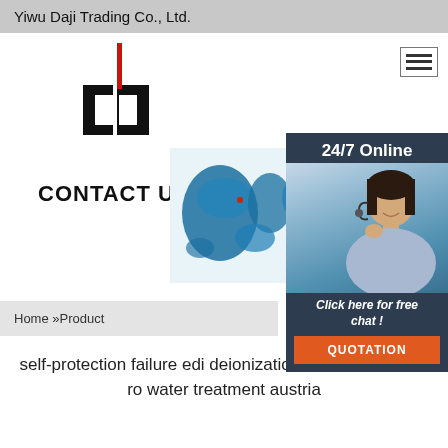Yiwu Daji Trading Co., Ltd.
[Figure (logo): Daji Trading company logo with red vertical bar and black letter shapes]
[Figure (infographic): 24/7 Online customer service agent panel with world map background, agent photo, 'Click here for free chat!' text, and QUOTATION button]
CONTACT US
Home »Product
self-protection failure edi deionization reverse osmosis ro water treatment austria
Just fill in the form below, click submit, you will get the price list, and we will